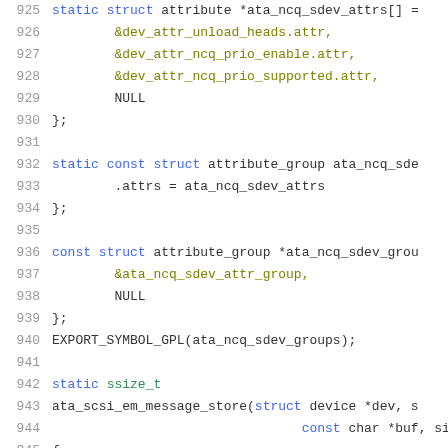[Figure (screenshot): Source code listing showing C code for ATA NCQ SCSI device attribute group and message store function, lines 925-946, with syntax highlighting in blue, teal/olive, and dark colors on white background.]